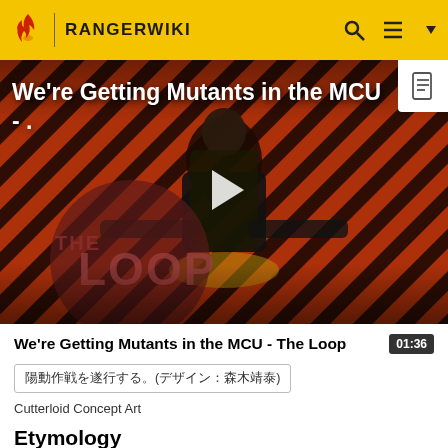RANGERWIKI
[Figure (screenshot): Video thumbnail showing a bald man in a suit seated in a yellow chair against a red and black striped background, with 'THE LOOP' watermark overlaid. White play button triangle in center. Video title overlay reads 'We're Getting Mutants in the MCU -.']
We're Getting Mutants in the MCU - The Loop
陽動作戦を遂行する。(デザイン：森木靖泰)
Cutterloid Concept Art
Etymology